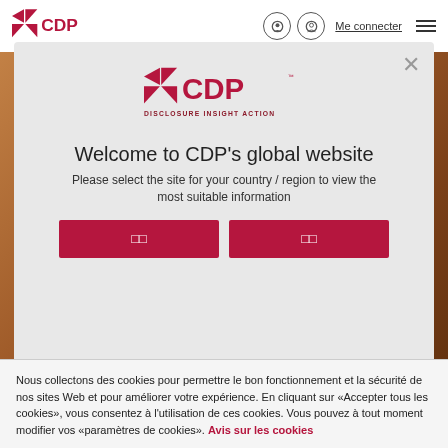Me connecter
[Figure (logo): CDP logo - Disclosure Insight Action - large red version in modal dialog]
Welcome to CDP's global website
Please select the site for your country / region to view the most suitable information
□□  □□
Nous collectons des cookies pour permettre le bon fonctionnement et la sécurité de nos sites Web et pour améliorer votre expérience. En cliquant sur «Accepter tous les cookies», vous consentez à l'utilisation de ces cookies. Vous pouvez à tout moment modifier vos «paramètres de cookies». Avis sur les cookies